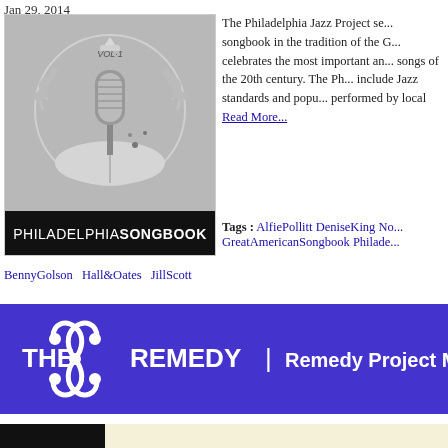Jan 29, 2014
[Figure (illustration): Philadelphia Songbook Vol. 1 album cover showing a vintage microphone with laurel wreath design and open book, grayscale, with text PHILADELPHIASONGBOOK at bottom]
The Philadelphia Jazz Project se... songbook in the tradition of the G... celebrates the most important an... songs of the 20th century. The Ph... include Jazz standards and popu... performed by local   Read More...
Tags : AlfiePollitt DeniseKing No... GreatAmericanSongbook Philade...
BennyGolson Hall&Oates JillScott
[Figure (illustration): The Remedy banner with purple background, white decorative swirl logo, text THE REMEDY | Remedy Project Mixt...]
[Figure (illustration): The Walt Whitman Sampler Mixtape Series banner with black logo box on left showing Philadelphia Jazz Project, cream background, title text and orange/black cartoon figure on right]